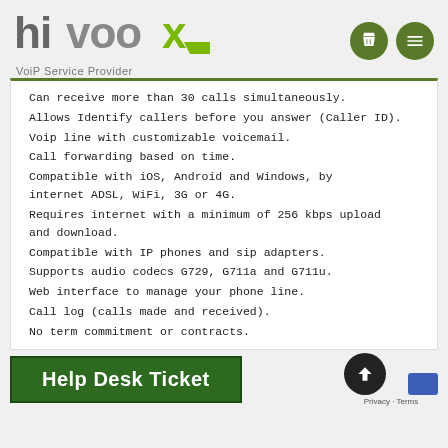[Figure (logo): Hivoox VoiP Service Provider logo with green accent mark and navigation icons]
Can receive more than 30 calls simultaneously.
Allows Identify callers before you answer (Caller ID).
Voip line with customizable voicemail.
Call forwarding based on time.
Compatible with iOS, Android and Windows, by internet ADSL, WiFi, 3G or 4G.
Requires internet with a minimum of 256 kbps upload and download.
Compatible with IP phones and sip adapters.
Supports audio codecs G729, G711a and G711u.
Web interface to manage your phone line.
Call log (calls made and received).
No term commitment or contracts.
Help Desk Ticket